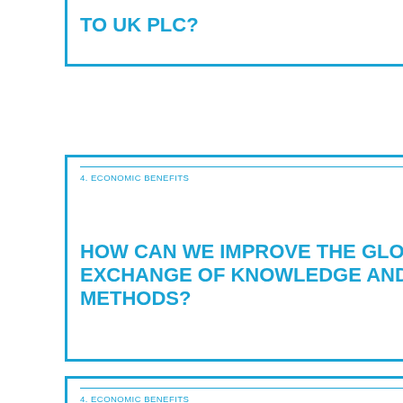TO UK PLC?
4. ECONOMIC BENEFITS
HOW CAN WE IMPROVE THE GLOBAL EXCHANGE OF KNOWLEDGE AND METHODS?
4. ECONOMIC BENEFITS